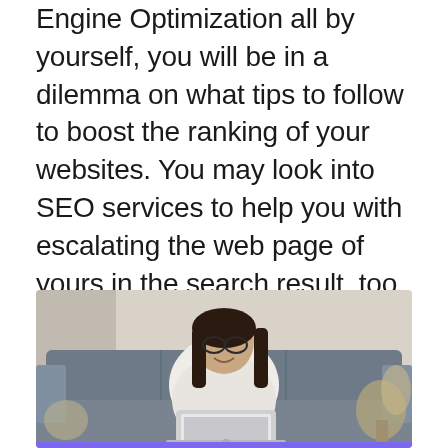Engine Optimization all by yourself, you will be in a dilemma on what tips to follow to boost the ranking of your websites. You may look into SEO services to help you with escalating the web page of yours in the search result, too. But by following certain SEO methods, you yourself can perform the optimization by yourself. Simply by following the ten tips, mentioned here, you can begin to rank your website at the top of the search engines.
[Figure (photo): A young woman with long dark hair and glasses, wearing a white shirt, sitting on a gray tufted sofa and smiling while working on a laptop. The background shows a light-colored wall and decorative plants. A purple bar appears at the bottom of the image.]